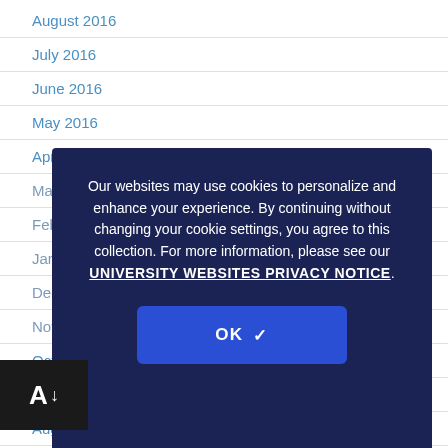August 2016
July 2016
June 2016
May 2016
April 2016
March 2016
February 2016
January 2016
December 2015
November 2015
October 2015
September 2015
August 2015
July 2015
June 2015
Our websites may use cookies to personalize and enhance your experience. By continuing without changing your cookie settings, you agree to this collection. For more information, please see our UNIVERSITY WEBSITES PRIVACY NOTICE.